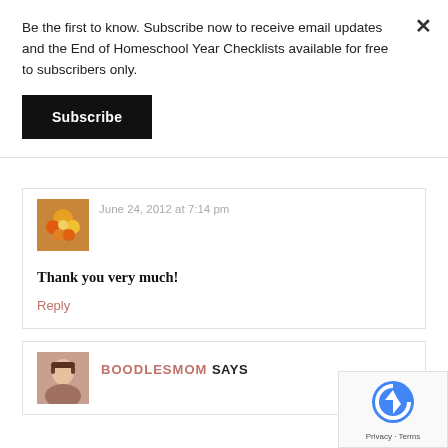Be the first to know. Subscribe now to receive email updates and the End of Homeschool Year Checklists available for free to subscribers only.
[Figure (screenshot): Black Subscribe button]
June 24, 2012 at 7:14 pm
Thank you very much!
Reply
BOODLESMOM SAYS
[Figure (screenshot): reCAPTCHA privacy badge with logo, Privacy and Terms links]